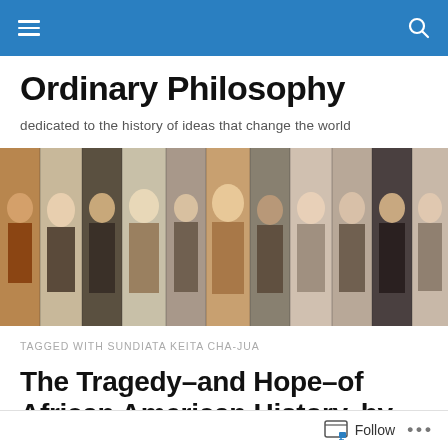Ordinary Philosophy — navigation bar
Ordinary Philosophy
dedicated to the history of ideas that change the world
[Figure (photo): A horizontal collage banner of historical portraits including philosophers, thinkers, and notable figures from various eras and backgrounds, shown in black-and-white and color photographs.]
TAGGED WITH SUNDIATA KEITA CHA-JUA
The Tragedy–and Hope–of African American History, by Robert Greenall